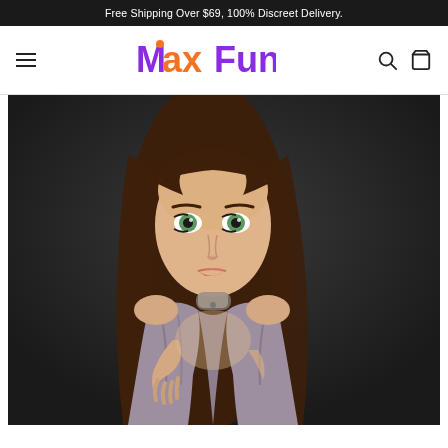Free Shipping Over $69, 100% Discreet Delivery.
[Figure (logo): MaxFun logo with orange M dot accent and purple/orange text]
[Figure (photo): Product photo of a realistic-looking doll with long brown hair, green eyes, wearing a grey/mauve halter dress, posed against a dark background]